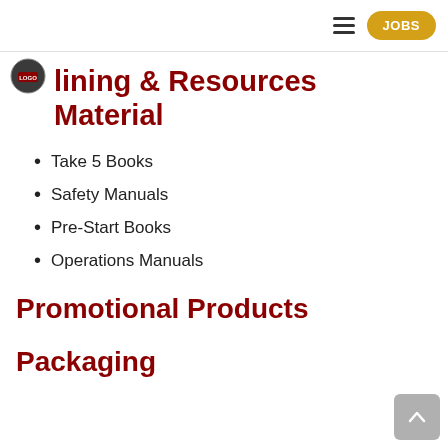JOBS
Training & Resources Material
Take 5 Books
Safety Manuals
Pre-Start Books
Operations Manuals
Promotional Products
Packaging